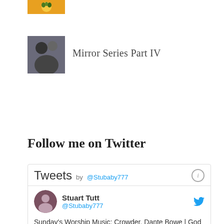[Figure (photo): Thumbnail image at top, orange/pumpkin colors]
[Figure (photo): Small blog thumbnail showing two people]
Mirror Series Part IV
Follow me on Twitter
Tweets by @Stubaby777
Stuart Tutt @Stubaby777
Sunday's Worship Music: Crowder, Dante Bowe | God Really Loves Us bloglovin.com/blogs/somethin… on @bloglovin
Sunday's Worship Music: Crowder, ... The easiest way to follow your favorite blogs bloglovin.com